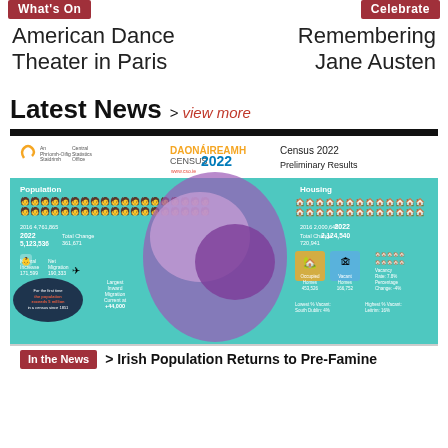What's On
Celebrate
American Dance Theater in Paris
Remembering Jane Austen
Latest News > view more
[Figure (infographic): Census 2022 Preliminary Results infographic from Central Statistics Office Ireland showing population of 5,123,536 in 2022 (up from 4,761,865 in 2016), natural increase 171,599, net migration 190,533, largest inward migration current +44,000, first time population exceeds 5 million in census since 1851. Housing: 2,124,540 homes in 2022 (up from 2,000,645 in 2016), total change 720,941, occupied homes 453,526, vacant homes 166,752, vacancy rate 7.8%, percentage change -4%, lowest % vacant South Dublin 4%, highest % vacant Leitrim 16%.]
In the News > Irish Population Returns to Pre-Famine